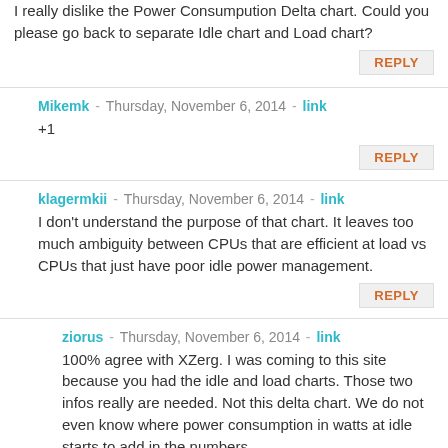I really dislike the Power Consumpution Delta chart. Could you please go back to separate Idle chart and Load chart?
REPLY
Mikemk - Thursday, November 6, 2014 - link
+1
REPLY
klagermkii - Thursday, November 6, 2014 - link
I don't understand the purpose of that chart. It leaves too much ambiguity between CPUs that are efficient at load vs CPUs that just have poor idle power management.
REPLY
ziorus - Thursday, November 6, 2014 - link
100% agree with XZerg. I was coming to this site because you had the idle and load charts. Those two infos really are needed. Not this delta chart. We do not even know where power consumption in watts at idle starts to add in the numbers.
REPLY
Guspaz - Thursday, November 6, 2014 - link